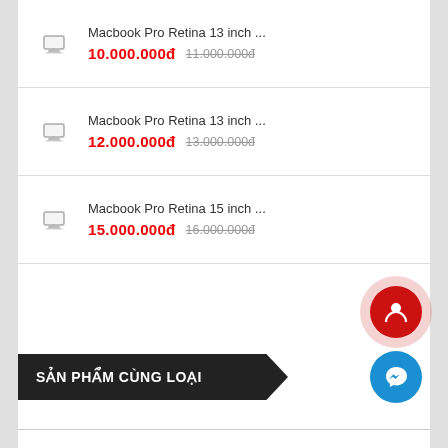Macbook Pro Retina 13 inch ... 10.000.000đ 11.000.000đ
Macbook Pro Retina 13 inch ... 12.000.000đ 13.000.000đ
Macbook Pro Retina 15 inch ... 15.000.000đ 16.000.000đ
SẢN PHẨM CÙNG LOẠI